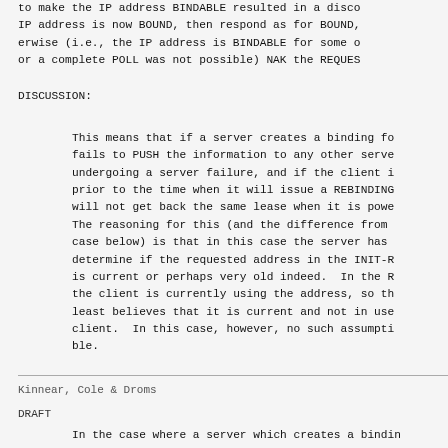to make the IP address BINDABLE resulted in a disco IP address is now BOUND, then respond as for BOUND, erwise (i.e., the IP address is BINDABLE for some o or a complete POLL was not possible) NAK the REQUES
DISCUSSION:
This means that if a server creates a binding fo fails to PUSH the information to any other serve undergoing a server failure, and if the client i prior to the time when it will issue a REBINDING will not get back the same lease when it is powe The reasoning for this (and the difference from case below) is that in this case the server has determine if the requested address in the INIT-R is current or perhaps very old indeed.  In the R the client is currently using the address, so th least believes that it is current and not in use client.  In this case, however, no such assumpti ble.
Kinnear, Cole & Droms
DRAFT
In the case where a server which creates a bindin